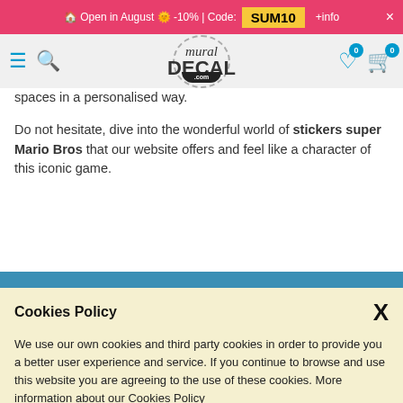🏠 Open in August 🌞 -10% | Code: SUM10 +info ×
[Figure (screenshot): MuralDecal.com website navigation bar with hamburger menu, search icon, logo, heart icon (0), and cart icon (0)]
spaces in a personalised way.
Do not hesitate, dive into the wonderful world of stickers super Mario Bros that our website offers and feel like a character of this iconic game.
Subscribe to our newsletter!
And get exclusive access to offers and promotions.
Cookies Policy
We use our own cookies and third party cookies in order to provide you a better user experience and service. If you continue to browse and use this website you are agreeing to the use of these cookies. More information about our Cookies Policy
The data provided by the user through this form will be incorporated into treatments whose